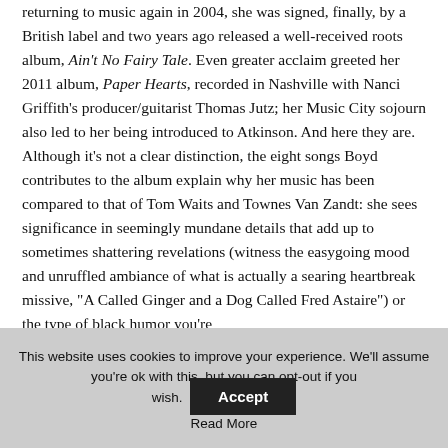returning to music again in 2004, she was signed, finally, by a British label and two years ago released a well-received roots album, Ain't No Fairy Tale. Even greater acclaim greeted her 2011 album, Paper Hearts, recorded in Nashville with Nanci Griffith's producer/guitarist Thomas Jutz; her Music City sojourn also led to her being introduced to Atkinson. And here they are. Although it's not a clear distinction, the eight songs Boyd contributes to the album explain why her music has been compared to that of Tom Waits and Townes Van Zandt: she sees significance in seemingly mundane details that add up to sometimes shattering revelations (witness the easygoing mood and unruffled ambiance of what is actually a searing heartbreak missive, “A Called Ginger and a Dog Called Fred Astaire”) or the type of black humor you’re
This website uses cookies to improve your experience. We'll assume you're ok with this, but you can opt-out if you wish. Accept Read More